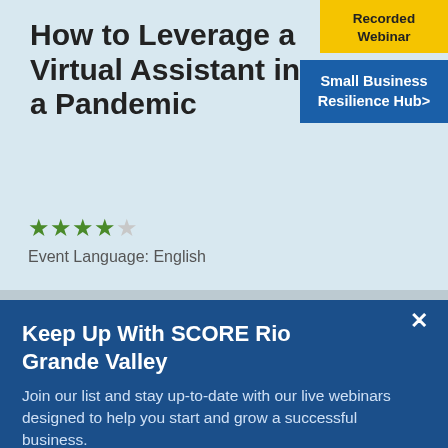How to Leverage a Virtual Assistant in a Pandemic
[Figure (other): Yellow badge with text 'Recorded Webinar']
Small Business Resilience Hub>
★★★★☆
Event Language: English
Keep Up With SCORE Rio Grande Valley
Join our list and stay up-to-date with our live webinars designed to help you start and grow a successful business.
email address
SUBMIT
[Figure (photo): Two people (man and woman) sitting together looking at something, possibly a document or laptop, in a professional/office setting]